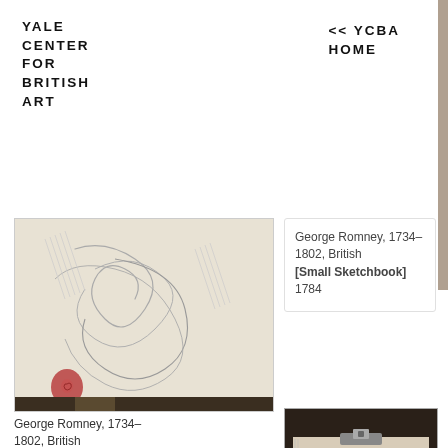YALE CENTER FOR BRITISH ART
<< YCBA HOME
[Figure (photo): Sketchbook page with loose pencil scribbles and a red wax seal at bottom left, bound sketchbook with dark cover visible at bottom.]
George Romney, 1734–1802, British
[Small Sketchbook]
1784
George Romney, 1734–
1802, British
[Small Sketchbook]
1784
[Figure (photo): Sketchbook with dark cover and metal clasp, open pages showing a pencil sketch of a lion or creature with spiky mane.]